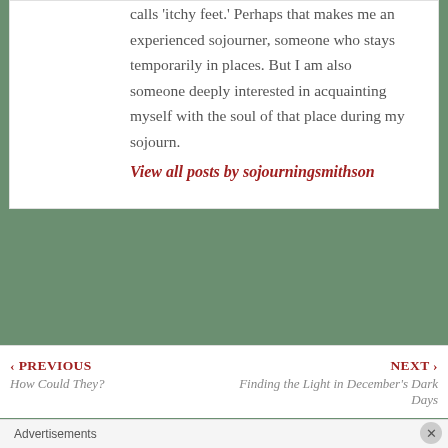must have what my mother calls 'itchy feet.' Perhaps that makes me an experienced sojourner, someone who stays temporarily in places. But I am also someone deeply interested in acquainting myself with the soul of that place during my sojourn.
View all posts by sojourningsmithson
‹ PREVIOUS How Could They?
NEXT › Finding the Light in December's Dark Days
Advertisements